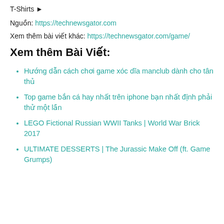T-Shirts ►
Nguồn: https://technewsgator.com
Xem thêm bài viết khác: https://technewsgator.com/game/
Xem thêm Bài Viết:
Hướng dẫn cách chơi game xóc dĩa manclub dành cho tân thủ
Top game bắn cá hay nhất trên iphone bạn nhất định phải thử một lần
LEGO Fictional Russian WWII Tanks | World War Brick 2017
ULTIMATE DESSERTS | The Jurassic Make Off (ft. Game Grumps)